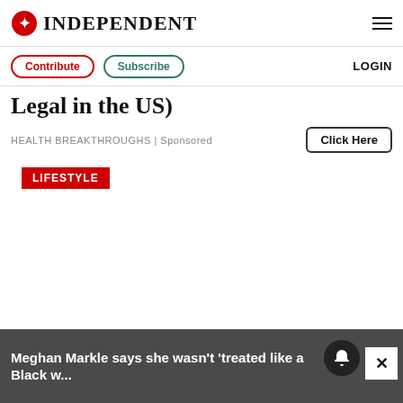INDEPENDENT
Contribute | Subscribe | LOGIN
Legal in the US)
HEALTH BREAKTHROUGHS | Sponsored
Click Here
LIFESTYLE
Meghan Markle says she wasn't 'treated like a Black woman until she was with Harry'